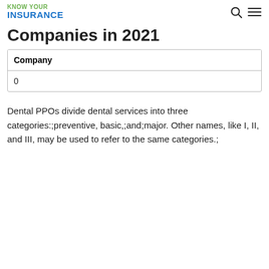KNOW YOUR INSURANCE
Companies in 2021
| Company |
| --- |
| 0 |
Dental PPOs divide dental services into three categories:;preventive, basic,;and;major. Other names, like I, II, and III, may be used to refer to the same categories.;